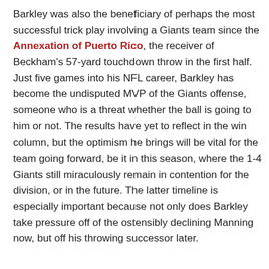Barkley was also the beneficiary of perhaps the most successful trick play involving a Giants team since the Annexation of Puerto Rico, the receiver of Beckham's 57-yard touchdown throw in the first half. Just five games into his NFL career, Barkley has become the undisputed MVP of the Giants offense, someone who is a threat whether the ball is going to him or not. The results have yet to reflect in the win column, but the optimism he brings will be vital for the team going forward, be it in this season, where the 1-4 Giants still miraculously remain in contention for the division, or in the future. The latter timeline is especially important because not only does Barkley take pressure off of the ostensibly declining Manning now, but off his throwing successor later.